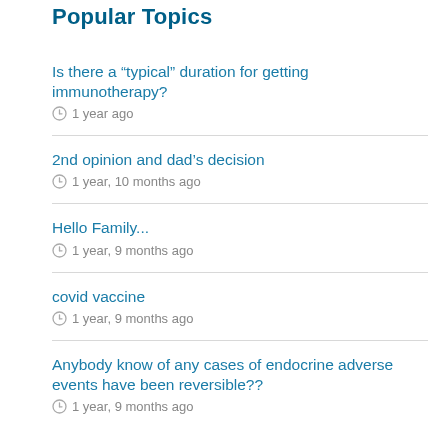Popular Topics
Is there a “typical” duration for getting immunotherapy?
1 year ago
2nd opinion and dad’s decision
1 year, 10 months ago
Hello Family...
1 year, 9 months ago
covid vaccine
1 year, 9 months ago
Anybody know of any cases of endocrine adverse events have been reversible??
1 year, 9 months ago